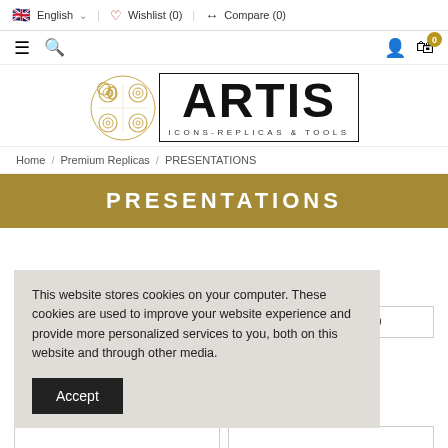English | Wishlist (0) | Compare (0)
[Figure (logo): ARTIS Icons-Replicas & Tools logo with decorative Celtic spiral emblem and text in bordered box]
Home / Premium Replicas / PRESENTATIONS
PRESENTATIONS
This website stores cookies on your computer. These cookies are used to improve your website experience and provide more personalized services to you, both on this website and through other media.
Accept
cm ): 13 × 10